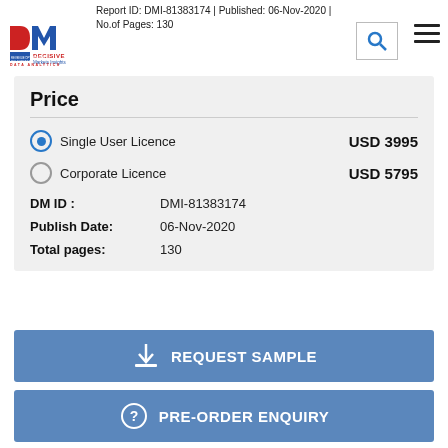Report ID: DMI-81383174 | Published: 06-Nov-2020 | No.of Pages: 130
[Figure (logo): Decisive Markets Insights logo with DM letters and tagline REVENUE OPTIMIZATION BY LEVERAGING DATA ANALYTICS]
Price
Single User Licence  USD 3995
Corporate Licence  USD 5795
DM ID :  DMI-81383174
Publish Date:  06-Nov-2020
Total pages:  130
REQUEST SAMPLE
PRE-ORDER ENQUIRY